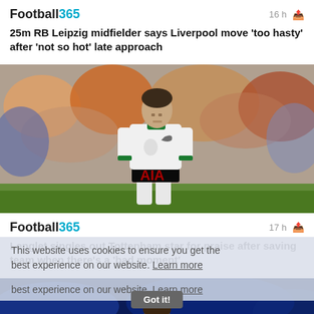Football365
16 h
25m RB Leipzig midfielder says Liverpool move 'too hasty' after 'not so hot' late approach
[Figure (photo): Football player in white Tottenham Hotspur kit on pitch]
Football365
17 h
Lenglet singles out Tottenham star for praise after saving team when there's a 'bad moment'
This website uses cookies to ensure you get the best experience on our website. Learn more
[Figure (photo): Football player in blue Chelsea kit on pitch, with cookie consent overlay and Got it! button]